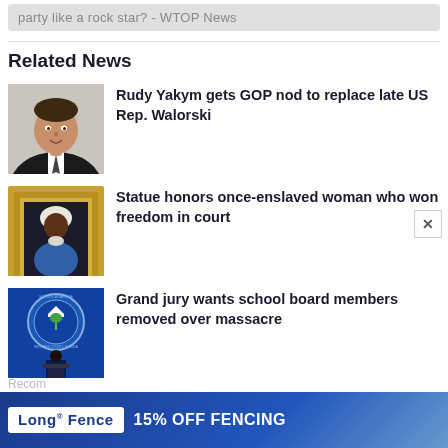party like a rock star? - WTOP News
Related News
[Figure (photo): Headshot of a man in a suit and tie, smiling, against a light gray background]
Rudy Yakym gets GOP nod to replace late US Rep. Walorski
[Figure (photo): A framed portrait painting in an ornate gold frame showing an elderly woman in a blue dress and white cap on a dark background]
Statue honors once-enslaved woman who won freedom in court
[Figure (photo): A man standing at a podium in front of a School Board of Broward County Florida seal/logo on a dark blue background]
Grand jury wants school board members removed over massacre
Recom
[Figure (advertisement): Long Fence advertisement banner: LONG® FENCE 15% OFF FENCING]